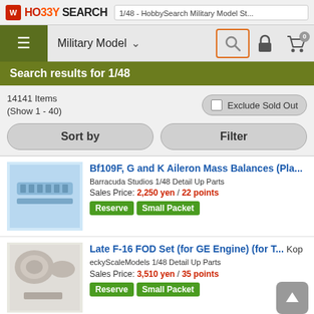1/48 - HobbySearch Military Model St...
Search results for 1/48
14141 Items (Show 1 - 40)
Exclude Sold Out
Sort by
Filter
Bf109F, G and K Aileron Mass Balances (Pla...
Barracuda Studios 1/48 Detail Up Parts
Sales Price: 2,250 yen / 22 points
Reserve  Small Packet
Late F-16 FOD Set (for GE Engine) (for T... KopeckyScaleModels 1/48 Detail Up Parts
Sales Price: 3,510 yen / 35 points
Reserve  Small Packet
Early F-16 FOD Set (for PW Engine) (for... KopeckyScaleModels 1/48 Detail Up Parts